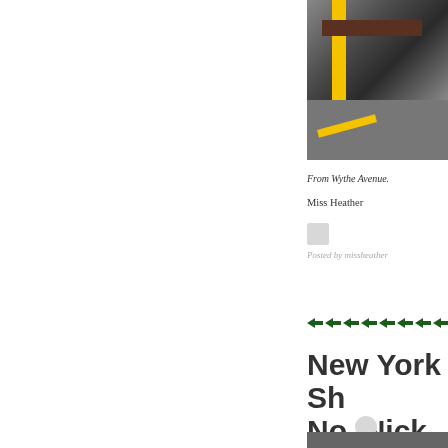[Figure (photo): Close-up photo of a yellow pole and wooden bench/bar with yellow stripe on grey asphalt, from Wythe Avenue]
From Wythe Avenue.
Miss Heather
Posted by missheather
[Figure (other): Green arrow divider]
New York Sh No, Nick Wa